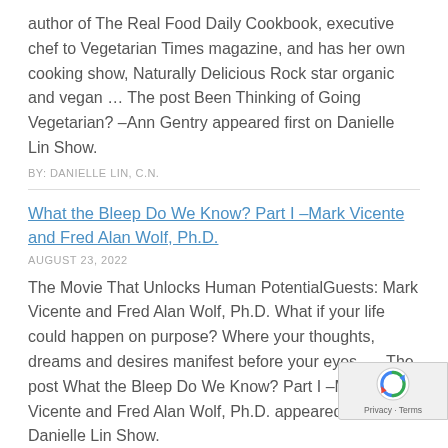author of The Real Food Daily Cookbook, executive chef to Vegetarian Times magazine, and has her own cooking show, Naturally Delicious Rock star organic and vegan … The post Been Thinking of Going Vegetarian? –Ann Gentry appeared first on Danielle Lin Show.
BY: DANIELLE LIN, C.N.
What the Bleep Do We Know? Part I –Mark Vicente and Fred Alan Wolf, Ph.D.
AUGUST 23, 2022
The Movie That Unlocks Human PotentialGuests: Mark Vicente and Fred Alan Wolf, Ph.D. What if your life could happen on purpose? Where your thoughts, dreams and desires manifest before your eyes. … The post What the Bleep Do We Know? Part I –Mark Vicente and Fred Alan Wolf, Ph.D. appeared first on Danielle Lin Show.
BY: DANIELLE LIN, C.N.